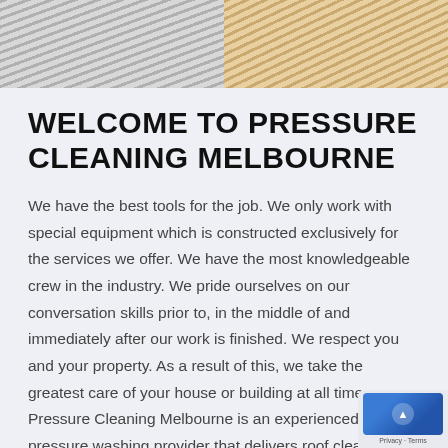[Figure (photo): Two side-by-side photos at top: left shows grey corrugated metal surface with diagonal ridges, right shows warm-toned wooden decking with parallel slats.]
WELCOME TO PRESSURE CLEANING MELBOURNE
We have the best tools for the job. We only work with special equipment which is constructed exclusively for the services we offer. We have the most knowledgeable crew in the industry. We pride ourselves on our conversation skills prior to, in the middle of and immediately after our work is finished. We respect you and your property. As a result of this, we take the greatest care of your house or building at all times. Pressure Cleaning Melbourne is an experienced pressure washing provider that delivers roof clean services, pressure washing services and more.